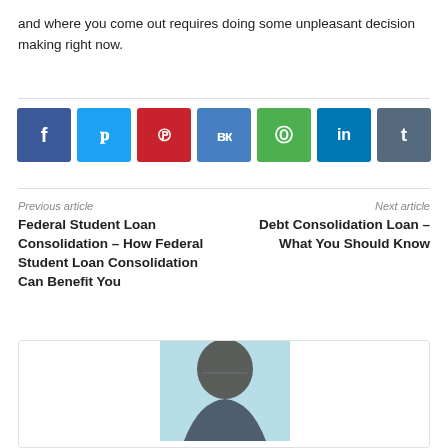and where you come out requires doing some unpleasant decision making right now.
[Figure (infographic): Social media share buttons: Facebook, Twitter, Pinterest, VK, WhatsApp, LinkedIn, Tumblr]
Previous article
Federal Student Loan Consolidation – How Federal Student Loan Consolidation Can Benefit You
Next article
Debt Consolidation Loan – What You Should Know
[Figure (photo): Author photo showing a person with glasses and dark hair]